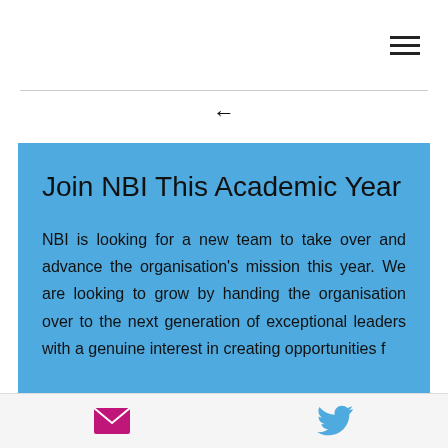☰ (hamburger menu icon)
Join NBI This Academic Year
NBI is looking for a new team to take over and advance the organisation's mission this year. We are looking to grow by handing the organisation over to the next generation of exceptional leaders with a genuine interest in creating opportunities for...
[email icon] [twitter icon]